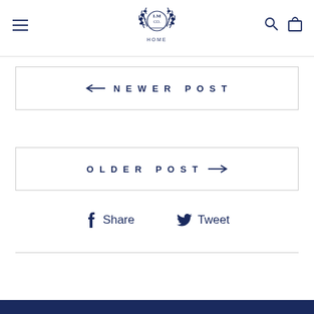LM CO HOME
← NEWER POST
OLDER POST →
Share  Tweet